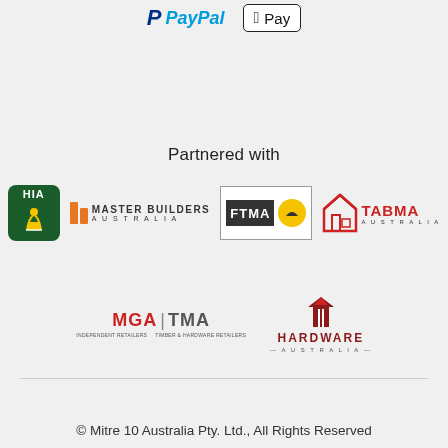[Figure (logo): PayPal and Apple Pay payment logos]
Partnered with
[Figure (logo): HIA, Master Builders Australia, FTMA, TABMA Australia partner logos]
[Figure (logo): MGA TMA and Hardware Australia partner logos]
© Mitre 10 Australia Pty. Ltd., All Rights Reserved